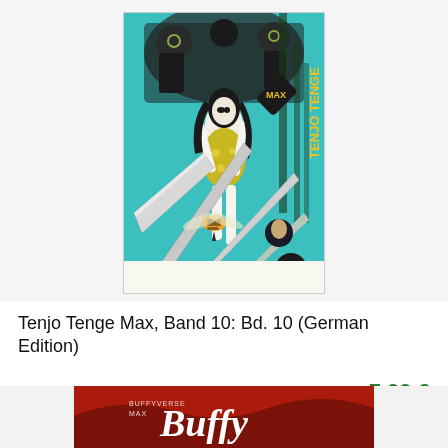[Figure (illustration): Book cover of Tenjo Tenge Max, Band 10 — manga style artwork featuring a female character in a floral dress surrounded by dark figures, large swords/blades, a wasp, on a teal/turquoise background. Text on cover: 'TENJO TENGE', 'MAX', 'Oh! great', and the number '10' in a black circle.]
Tenjo Tenge Max, Band 10: Bd. 10 (German Edition)
Amazon
7,99 €
[Figure (illustration): Partial bottom crop of another book cover — red/dark tones with stylized text reading 'Buffy' in white, partially visible.]